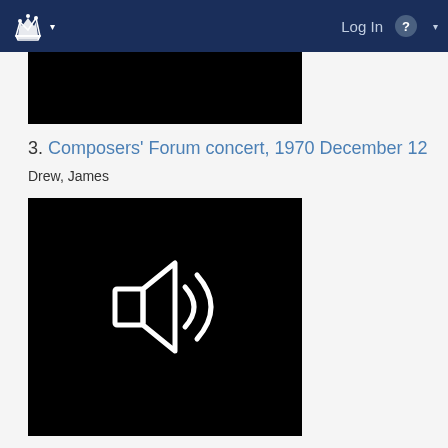Log In
[Figure (photo): Black thumbnail image for audio item 3]
3. Composers' Forum concert, 1970 December 12
Drew, James
[Figure (other): Black audio player thumbnail with white speaker/sound icon]
4. Composers' Forum concert, 1970 March 21